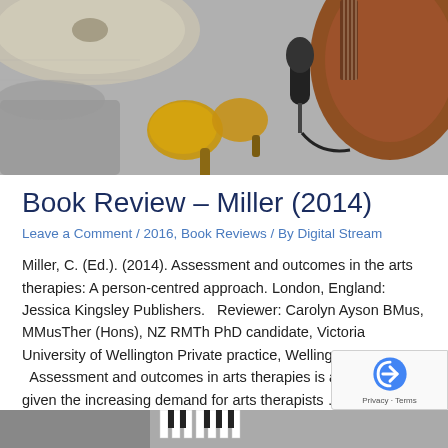[Figure (photo): Overhead view of musical instruments including maracas, a microphone, a guitar, and a cymbal on a grey surface]
Book Review – Miller (2014)
Leave a Comment / 2016, Book Reviews / By Digital Stream
Miller, C. (Ed.). (2014). Assessment and outcomes in the arts therapies: A person-centred approach. London, England: Jessica Kingsley Publishers.   Reviewer: Carolyn Ayson BMus, MMusTher (Hons), NZ RMTh PhD candidate, Victoria University of Wellington Private practice, Wellington   Assessment and outcomes in arts therapies is a timely book given the increasing demand for arts therapists …
Read More »
[Figure (photo): Bottom strip showing musical instruments, partially visible]